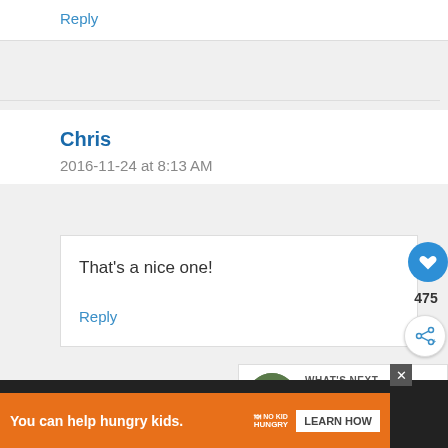Reply
Chris
2016-11-24 at 8:13 AM
That's a nice one!
Reply
475
WHAT'S NEXT → How to Get Rid of Aphid...
You can help hungry kids.
LEARN HOW